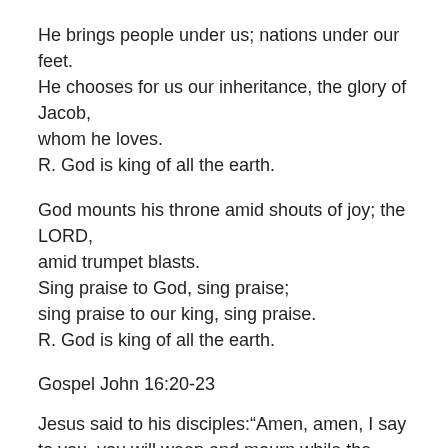He brings people under us; nations under our feet.
He chooses for us our inheritance, the glory of Jacob, whom he loves.
R. God is king of all the earth.
God mounts his throne amid shouts of joy; the LORD, amid trumpet blasts.
Sing praise to God, sing praise;
sing praise to our king, sing praise.
R. God is king of all the earth.
Gospel John 16:20-23
Jesus said to his disciples:“Amen, amen, I say to you, you will weep and mourn,while the world rejoices;you will grieve, but your grief will become joy.When a woman is in labor, she is in anguish because her hour has arrived;but